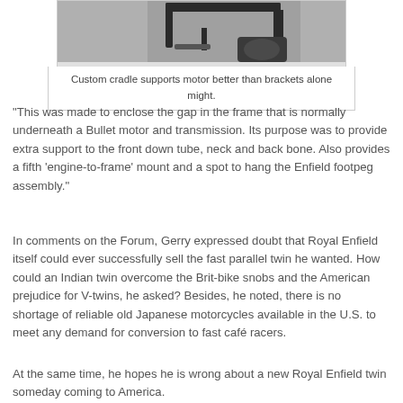[Figure (photo): Close-up photo of a custom metal cradle/bracket assembly on a motorcycle frame, with footpeg visible, set against a concrete background.]
Custom cradle supports motor better than brackets alone might.
"This was made to enclose the gap in the frame that is normally underneath a Bullet motor and transmission. Its purpose was to provide extra support to the front down tube, neck and back bone. Also provides a fifth 'engine-to-frame' mount and a spot to hang the Enfield footpeg assembly."
In comments on the Forum, Gerry expressed doubt that Royal Enfield itself could ever successfully sell the fast parallel twin he wanted. How could an Indian twin overcome the Brit-bike snobs and the American prejudice for V-twins, he asked? Besides, he noted, there is no shortage of reliable old Japanese motorcycles available in the U.S. to meet any demand for conversion to fast café racers.
At the same time, he hopes he is wrong about a new Royal Enfield twin someday coming to America.